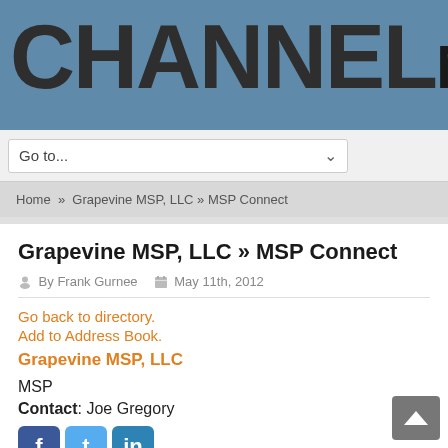[Figure (logo): ChannelMSP logo in large bold text on blue-gray background banner]
Go to...
Home » Grapevine MSP, LLC » MSP Connect
Grapevine MSP, LLC » MSP Connect
By Frank Gurnee   May 11th, 2012
Go back to directory.
Add to Address Book.
Grapevine MSP, LLC
MSP
Contact: Joe Gregory
[Figure (illustration): Facebook, Twitter, and LinkedIn social media icons]